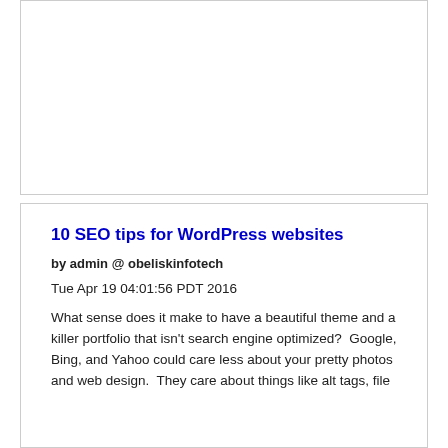[Figure (other): Empty white card/box area at the top of the page]
10 SEO tips for WordPress websites
by admin @ obeliskinfotech
Tue Apr 19 04:01:56 PDT 2016
What sense does it make to have a beautiful theme and a killer portfolio that isn't search engine optimized?  Google, Bing, and Yahoo could care less about your pretty photos and web design.  They care about things like alt tags, file